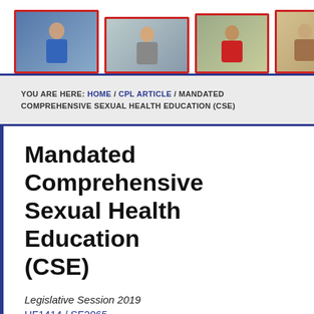[Figure (photo): Header strip showing multiple photos of people, partially cropped at top of page]
YOU ARE HERE: HOME / CPL ARTICLE / MANDATED COMPREHENSIVE SEXUAL HEALTH EDUCATION (CSE)
Mandated Comprehensive Sexual Health Education (CSE)
Legislative Session 2019
HF1414 / SF2065
Mandated CSE Handout (PDF)
What does the Minnesota's Comprehensive Sexual